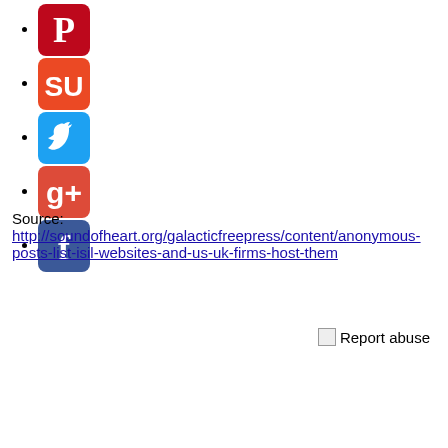[Pinterest icon]
[StumbleUpon icon]
[Twitter icon]
[Google+ icon]
[Facebook icon]
Source:
http://soundofheart.org/galacticfreepress/content/anonymous-posts-list-isil-websites-and-us-uk-firms-host-them
[Figure (other): Report abuse button with broken image icon]